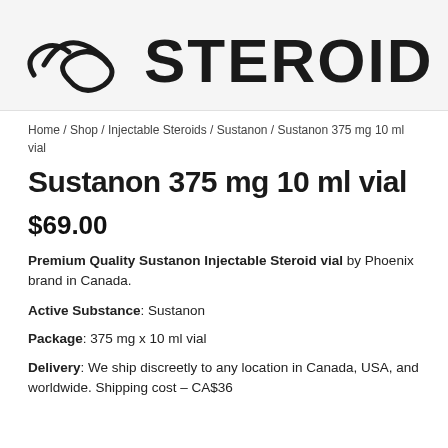[Figure (logo): Website logo with snake/swoosh graphic and bold 'STEROIDS' text on light gray background]
Home / Shop / Injectable Steroids / Sustanon / Sustanon 375 mg 10 ml vial
Sustanon 375 mg 10 ml vial
$69.00
Premium Quality Sustanon Injectable Steroid vial by Phoenix brand in Canada.
Active Substance: Sustanon
Package: 375 mg x 10 ml vial
Delivery: We ship discreetly to any location in Canada, USA, and worldwide. Shipping cost – CA$36